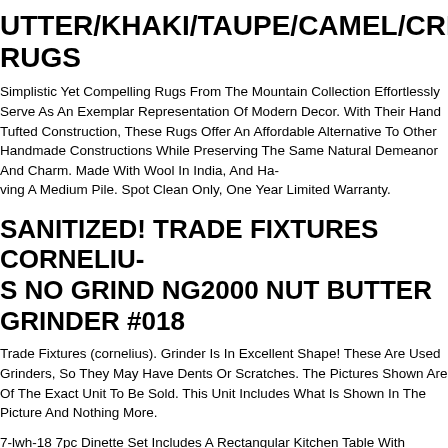UTTER/KHAKI/TAUPE/CAMEL/CREAM RUGS
Simplistic Yet Compelling Rugs From The Mountain Collection Effortlessly Serve As An Exemplar Representation Of Modern Decor. With Their Hand Tufted Construction, These Rugs Offer An Affordable Alternative To Other Handmade Constructions While Preserving The Same Natural Demeanor And Charm. Made With Wool In India, And Having A Medium Pile. Spot Clean Only, One Year Limited Warranty.
SANITIZED! TRADE FIXTURES CORNELIUS NO GRIND NG2000 NUT BUTTER GRINDER #018
Trade Fixtures (cornelius). Grinder Is In Excellent Shape! These Are Used Grinders, So They May Have Dents Or Scratches. The Pictures Shown Are Of The Exact Unit To Be Sold. This Unit Includes What Is Shown In The Picture And Nothing More.
7-lwh-18 7pc Dinette Set Includes A Rectangular Kitchen Table With Butter.... Dofr7 Lwh 18 Dofr7 Lwh 18 7pc Dinette Set Includes A Rectangular Kitchen Table With Butter And Six Parson Chairs With Dark Coffee Fabric Linen White Finish Quality Is Made Attainable With This Exclusive Dofr7 Lwh 18 Dinette Set Includes A Rectangular Dinette